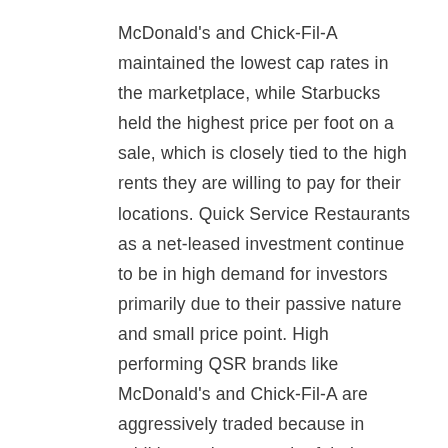McDonald's and Chick-Fil-A maintained the lowest cap rates in the marketplace, while Starbucks held the highest price per foot on a sale, which is closely tied to the high rents they are willing to pay for their locations. Quick Service Restaurants as a net-leased investment continue to be in high demand for investors primarily due to their passive nature and small price point. High performing QSR brands like McDonald's and Chick-Fil-A are aggressively traded because in addition to the strength of their guarantees, they maintain a business model that affords a fairly low rent per square foot. This allows an investor to replace the cash flow stream if the property were ever to become vacant.
Although full service restaurants operate under a variety of business models with various preferred demographics, the average cap rate for some of the